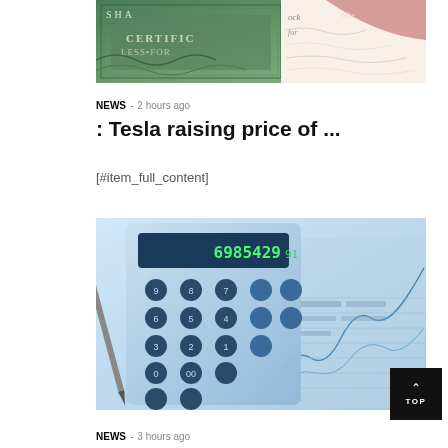[Figure (photo): Stock certificate with green decorative border and cursive text visible in background]
NEWS - 2 hours ago
: Tesla raising price of ...
[#item_full_content]
[Figure (photo): Calculator with financial charts and spreadsheets in blue tint]
NEWS - 3 hours ago